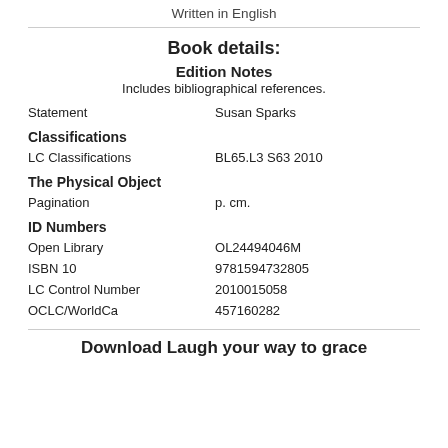Written in English
Book details:
Edition Notes
Includes bibliographical references.
| Statement | Susan Sparks |
| Classifications |  |
| LC Classifications | BL65.L3 S63 2010 |
| The Physical Object |  |
| Pagination | p. cm. |
| ID Numbers |  |
| Open Library | OL24494046M |
| ISBN 10 | 9781594732805 |
| LC Control Number | 2010015058 |
| OCLC/WorldCa | 457160282 |
Download Laugh your way to grace